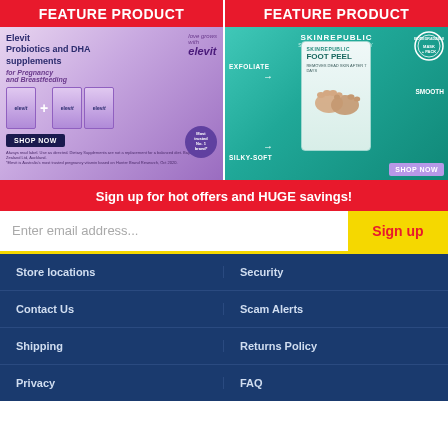FEATURE PRODUCT
[Figure (photo): Elevit Probiotics and DHA supplements advertisement for Pregnancy and Breastfeeding, showing product boxes with a SHOP NOW button. Most trusted No.1 brand badge visible.]
FEATURE PRODUCT
[Figure (photo): Skin Republic Foot Peel product advertisement with teal background, showing foot peel package and feet. Labels: EXFOLIATE, SILKY-SOFT, SMOOTH. SHOP NOW button and biodegradable badge.]
Sign up for hot offers and HUGE savings!
Enter email address...
Sign up
Store locations
Security
Contact Us
Scam Alerts
Shipping
Returns Policy
Privacy
FAQ